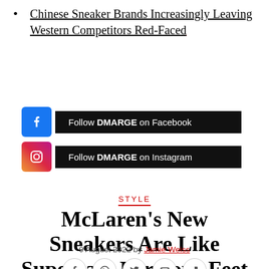Chinese Sneaker Brands Increasingly Leaving Western Competitors Red-Faced
[Figure (other): Follow DMARGE on Facebook button with Facebook icon]
[Figure (other): Follow DMARGE on Instagram button with Instagram icon]
STYLE
McLaren’s New Sneakers Are Like Supercars For Your Feet
9 August 2022 by Jamie Weiss
[Figure (infographic): Social share icons: Facebook, WhatsApp, Twitter, Email, Flipboard]